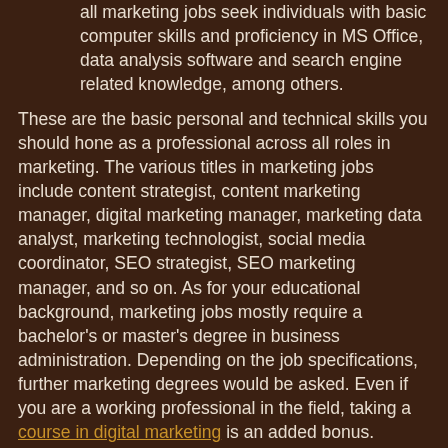all marketing jobs seek individuals with basic computer skills and proficiency in MS Office, data analysis software and search engine related knowledge, among others.
These are the basic personal and technical skills you should hone as a professional across all roles in marketing. The various titles in marketing jobs include content strategist, content marketing manager, digital marketing manager, marketing data analyst, marketing technologist, social media coordinator, SEO strategist, SEO marketing manager, and so on. As for your educational background, marketing jobs mostly require a bachelor's or master's degree in business administration. Depending on the job specifications, further marketing degrees would be asked. Even if you are a working professional in the field, taking a course in digital marketing is an added bonus.
Having said these points, if you, as an individual, are capable of delivering and communicating innovative ideas with ease, you have the basic profile. Along with this, if you have a flair for multitasking while keeping attention to detail.